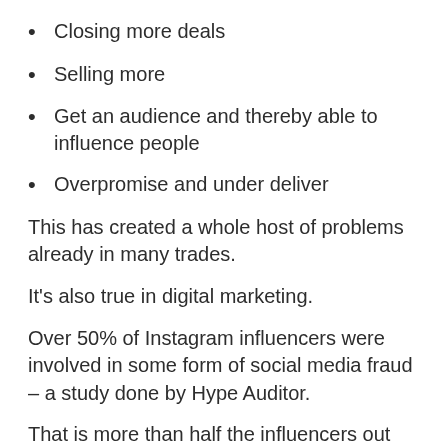Closing more deals
Selling more
Get an audience and thereby able to influence people
Overpromise and under deliver
This has created a whole host of problems already in many trades.
It’s also true in digital marketing.
Over 50% of Instagram influencers were involved in some form of social media fraud – a study done by Hype Auditor.
That is more than half the influencers out there